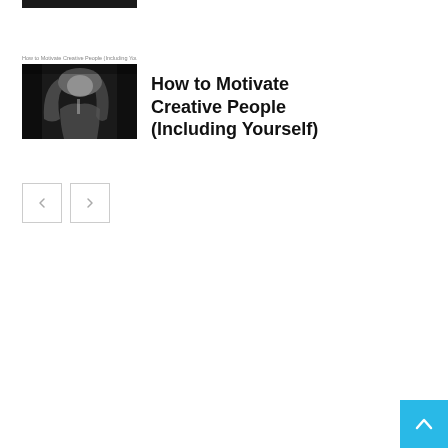[Figure (photo): Partial black image strip at top left]
[Figure (photo): Black and white photo of a person with long hair, appearing to be performing or singing, with a small label text above reading 'How to Motivate Creative People (Including Yourself)']
How to Motivate Creative People (Including Yourself)
[Figure (other): Navigation buttons: left arrow and right arrow, each in a square border]